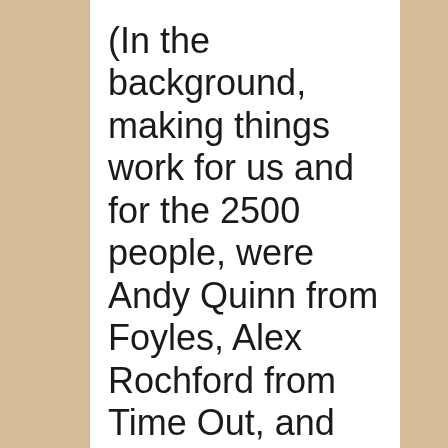(In the background, making things work for us and for the 2500 people, were Andy Quinn from Foyles, Alex Rochford from Time Out, and their respective teams, the lovely and talented Holly Gaiman, and the extremely terrific